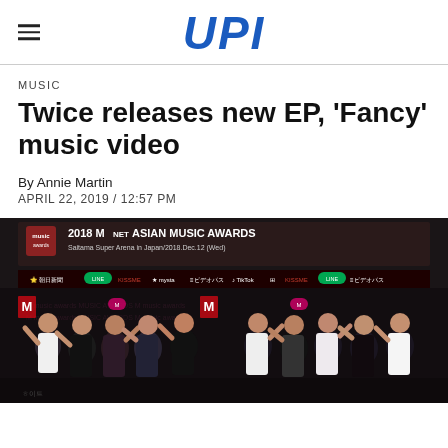UPI
MUSIC
Twice releases new EP, 'Fancy' music video
By Annie Martin
APRIL 22, 2019 / 12:57 PM
[Figure (photo): Group photo of Twice at the 2018 Mnet Asian Music Awards, Saitama Super Arena in Japan/2018.Dec.12 (Wed). Members waving at camera on a dark red carpet with sponsor logos including KISSME, mysta, TikTok, and others.]